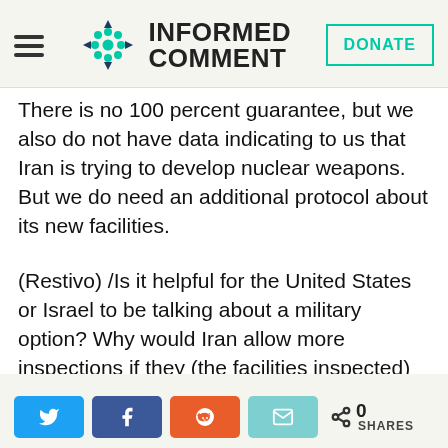INFORMED COMMENT
There is no 100 percent guarantee, but we also do not have data indicating to us that Iran is trying to develop nuclear weapons. But we do need an additional protocol about its new facilities.
(Restivo) /Is it helpful for the United States or Israel to be talking about a military option? Why would Iran allow more inspections if they (the facilities inspected) might eventually become
0 SHARES